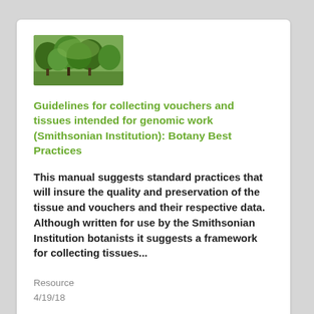[Figure (photo): Thumbnail photo of forest/vegetation scene with green trees]
Guidelines for collecting vouchers and tissues intended for genomic work (Smithsonian Institution): Botany Best Practices
This manual suggests standard practices that will insure the quality and preservation of the tissue and vouchers and their respective data. Although written for use by the Smithsonian Institution botanists it suggests a framework for collecting tissues...
Resource
4/19/18